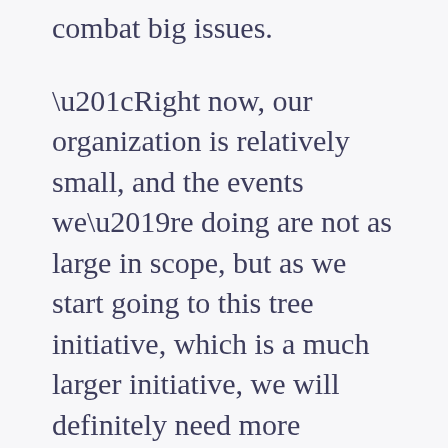combat big issues.
“Right now, our organization is relatively small, and the events we’re doing are not as large in scope, but as we start going to this tree initiative, which is a much larger initiative, we will definitely need more support, and so our schools are the first